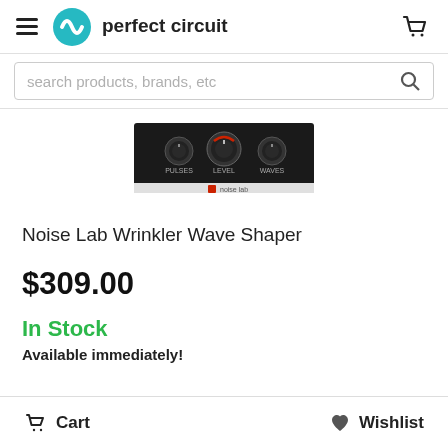Perfect Circuit
[Figure (screenshot): Search bar with placeholder text 'search products, brands, etc' and a magnifying glass icon]
[Figure (photo): Product image of Noise Lab Wrinkler Wave Shaper hardware module showing PULSES, LEVEL, and WAVES knobs on a black panel with 'noise lab' branding]
Noise Lab Wrinkler Wave Shaper
$309.00
In Stock
Available immediately!
Cart   Wishlist